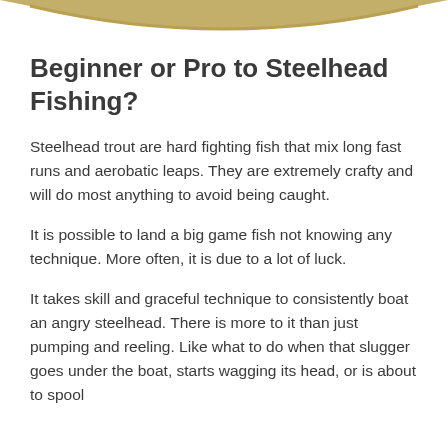[Figure (illustration): Decorative gold/tan curved banner or ribbon shape at the top of the page]
Beginner or Pro to Steelhead Fishing?
Steelhead trout are hard fighting fish that mix long fast runs and aerobatic leaps. They are extremely crafty and will do most anything to avoid being caught.
It is possible to land a big game fish not knowing any technique. More often, it is due to a lot of luck.
It takes skill and graceful technique to consistently boat an angry steelhead. There is more to it than just pumping and reeling. Like what to do when that slugger goes under the boat, starts wagging its head, or is about to spool